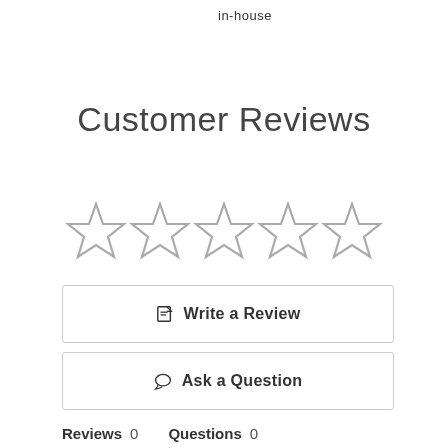in-house
Customer Reviews
[Figure (other): Five empty star rating icons arranged in a row]
Write a Review
Ask a Question
Reviews  0    Questions  0